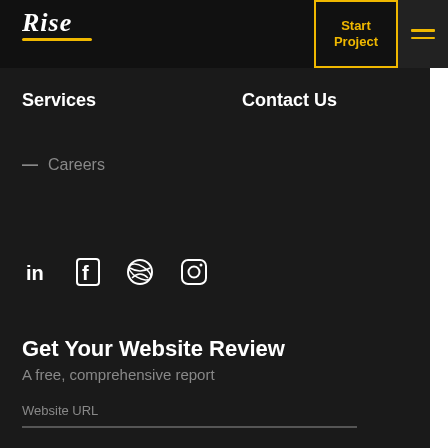[Figure (logo): Rise logo in white italic script with yellow underline]
Start Project
Services
Contact Us
— Careers
[Figure (infographic): Social media icons: LinkedIn, Facebook, Dribbble, Instagram in white on dark background]
Get Your Website Review
A free, comprehensive report
Website URL
Get Report